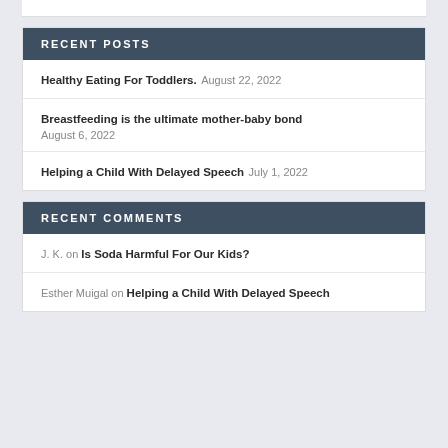RECENT POSTS
Healthy Eating For Toddlers. August 22, 2022
Breastfeeding is the ultimate mother-baby bond August 6, 2022
Helping a Child With Delayed Speech July 1, 2022
RECENT COMMENTS
J. K. on Is Soda Harmful For Our Kids?
Esther Muigal on Helping a Child With Delayed Speech